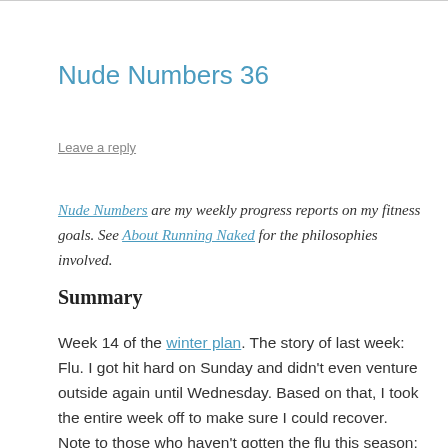Nude Numbers 36
Leave a reply
Nude Numbers are my weekly progress reports on my fitness goals. See About Running Naked for the philosophies involved.
Summary
Week 14 of the winter plan. The story of last week: Flu. I got hit hard on Sunday and didn't even venture outside again until Wednesday. Based on that, I took the entire week off to make sure I could recover. Note to those who haven't gotten the flu this season; don't get it. The flu sucks much more than a cold.